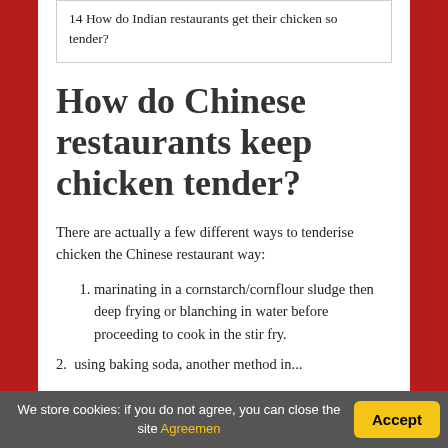| 14 How do Indian restaurants get their chicken so tender? |
How do Chinese restaurants keep chicken tender?
There are actually a few different ways to tenderise chicken the Chinese restaurant way:
marinating in a cornstarch/cornflour sludge then deep frying or blanching in water before proceeding to cook in the stir fry.
We store cookies: if you do not agree, you can close the site Agreemen  Accept